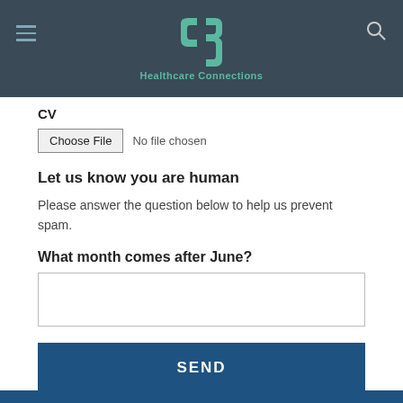Healthcare Connections
CV
Choose File  No file chosen
Let us know you are human
Please answer the question below to help us prevent spam.
What month comes after June?
SEND
* required field